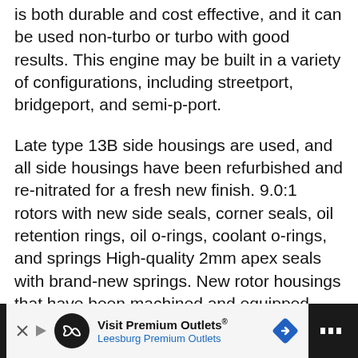is both durable and cost effective, and it can be used non-turbo or turbo with good results. This engine may be built in a variety of configurations, including streetport, bridgeport, and semi-p-port.
Late type 13B side housings are used, and all side housings have been refurbished and re-nitrated for a fresh new finish. 9.0:1 rotors with new side seals, corner seals, oil retention rings, oil o-rings, coolant o-rings, and springs High-quality 2mm apex seals with brand-new springs. New rotor housings that have been machined and equipped with a complete peripheral port, “race” port exhaust.
[Figure (other): Advertisement banner for Visit Premium Outlets - Leesburg Premium Outlets with logo, navigation arrow, and diamond-shaped directional icon]